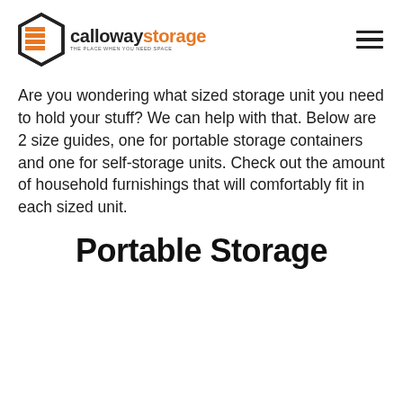callowaystorage — THE PLACE WHEN YOU NEED SPACE
Are you wondering what sized storage unit you need to hold your stuff? We can help with that. Below are 2 size guides, one for portable storage containers and one for self-storage units. Check out the amount of household furnishings that will comfortably fit in each sized unit.
Portable Storage Container Size